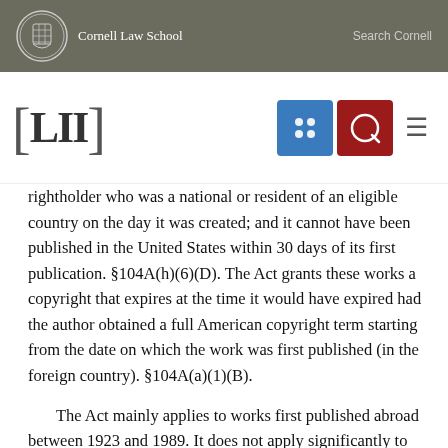Cornell Law School | Search Cornell
rightholder who was a national or resident of an eligible country on the day it was created; and it cannot have been published in the United States within 30 days of its first publication. §104A(h)(6)(D). The Act grants these works a copyright that expires at the time it would have expired had the author obtained a full American copyright term starting from the date on which the work was first published (in the foreign country). §104A(a)(1)(B).
The Act mainly applies to works first published abroad between 1923 and 1989. It does not apply significantly to earlier works because any work published before 1921 would have fallen into the public domain before 1977 but it remains in full...